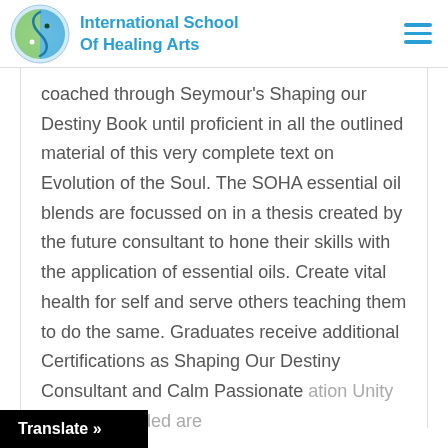International School Of Healing Arts
coached through Seymour's Shaping our Destiny Book until proficient in all the outlined material of this very complete text on Evolution of the Soul. The SOHA essential oil blends are focussed on in a thesis created by the future consultant to hone their skills with the application of essential oils. Create vital health for self and serve others teaching them to do the same. Graduates receive additional Certifications as Shaping Our Destiny Consultant and Calm Passionate ation Unity Coach. Included are ur Destiny and So HA 5